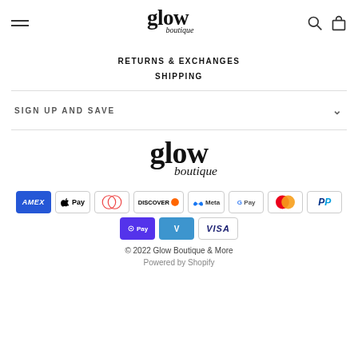glow boutique
RETURNS & EXCHANGES
SHIPPING
SIGN UP AND SAVE
[Figure (logo): Glow Boutique logo - large centered footer logo]
[Figure (infographic): Payment method icons: Amex, Apple Pay, Diners, Discover, Meta, Google Pay, Mastercard, PayPal, Shop Pay, Venmo, Visa]
© 2022 Glow Boutique & More
Powered by Shopify